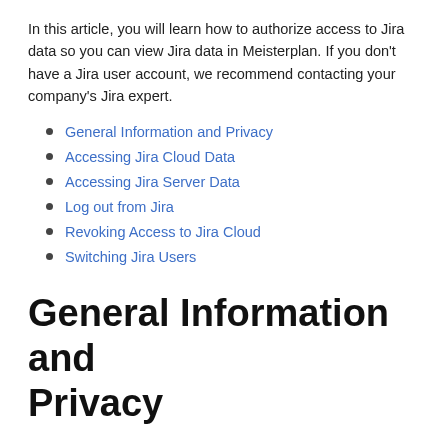In this article, you will learn how to authorize access to Jira data so you can view Jira data in Meisterplan. If you don't have a Jira user account, we recommend contacting your company's Jira expert.
General Information and Privacy
Accessing Jira Cloud Data
Accessing Jira Server Data
Log out from Jira
Revoking Access to Jira Cloud
Switching Jira Users
General Information and Privacy